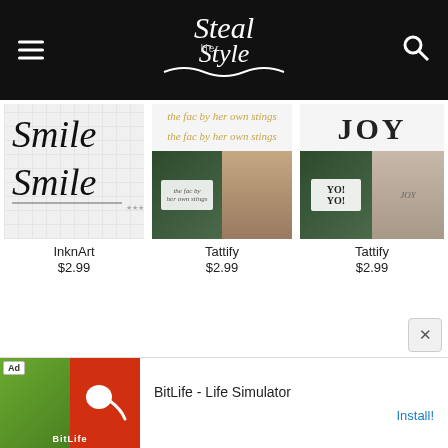Steal Her Style
[Figure (screenshot): InknArt product card showing 'Smile Smile' cursive text tattoo on grid background]
InknArt
$2.99
[Figure (screenshot): Tattify product card showing script text 'the fac by her own stings' in gold with two product images - tattoo on green background and on skin]
Tattify
$2.99
[Figure (screenshot): Tattify product card showing 'JOY' text with two product images - sticker on green background and tattoo on skin]
Tattify
$2.99
[Figure (screenshot): Ad banner for BitLife - Life Simulator app with Install button]